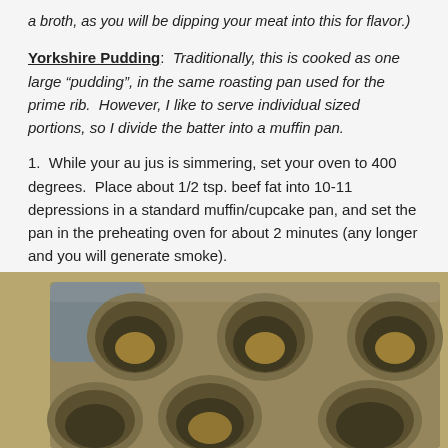a broth, as you will be dipping your meat into this for flavor.)
Yorkshire Pudding: Traditionally, this is cooked as one large “pudding”, in the same roasting pan used for the prime rib. However, I like to serve individual sized portions, so I divide the batter into a muffin pan.
1. While your au jus is simmering, set your oven to 400 degrees. Place about 1/2 tsp. beef fat into 10-11 depressions in a standard muffin/cupcake pan, and set the pan in the preheating oven for about 2 minutes (any longer and you will generate smoke).
[Figure (photo): Close-up photograph of a metal muffin/cupcake pan with beef fat melted into several of the cup depressions, viewed from above at an angle. A blue item is visible in the upper left corner.]